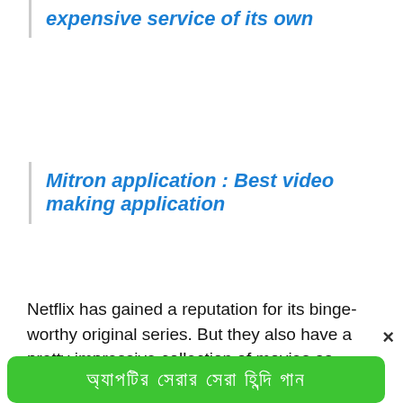expensive service of its own
Mitron application : Best video making application
Netflix has gained a reputation for its binge-worthy original series. But they also have a pretty impressive collection of movies as well. Whether you are craving some nostalgia for a
×
অ্যাপটির সেরার সেরা হিন্দি গান